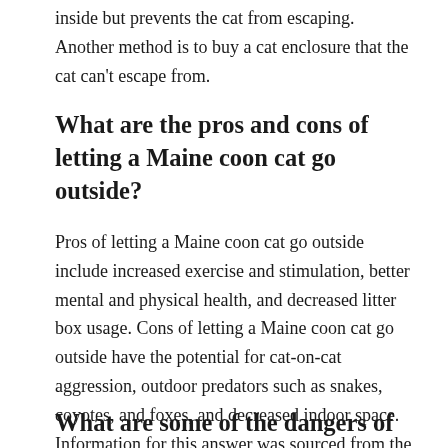inside but prevents the cat from escaping. Another method is to buy a cat enclosure that the cat can't escape from.
What are the pros and cons of letting a Maine coon cat go outside?
Pros of letting a Maine coon cat go outside include increased exercise and stimulation, better mental and physical health, and decreased litter box usage. Cons of letting a Maine coon cat go outside have the potential for cat-on-cat aggression, outdoor predators such as snakes, coyotes, and foxes, and decreased indoor space. Information for this answer was sourced from the ASPCA website.
What are some of the dangers of